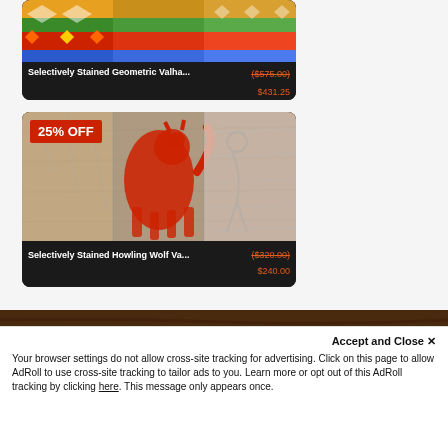[Figure (screenshot): E-commerce product card: Selectively Stained Geometric Valha... with original price ($575.00) and sale price $431.25]
[Figure (screenshot): E-commerce product card with 25% OFF badge: Selectively Stained Howling Wolf Va... with original price ($320.00) and sale price $240.00]
[Figure (photo): Dark wood grain background texture]
Accept and Close ✕
Your browser settings do not allow cross-site tracking for advertising. Click on this page to allow AdRoll to use cross-site tracking to tailor ads to you. Learn more or opt out of this AdRoll tracking by clicking here. This message only appears once.